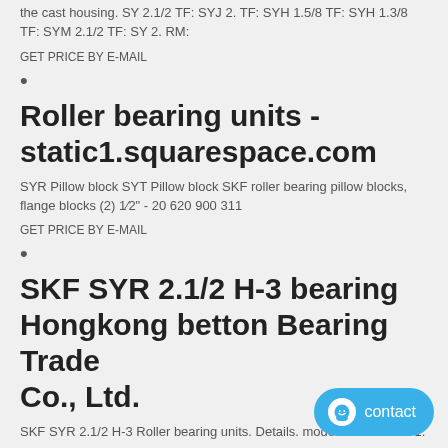the cast housing. SY 2.1/2 TF: SYJ 2. TF: SYH 1.5/8 TF: SYH 1.3/8 TF: SYM 2.1/2 TF: SY 2. RM:
GET PRICE BY E-MAIL
•
Roller bearing units - static1.squarespace.com
SYR Pillow block SYT Pillow block SKF roller bearing pillow blocks, flange blocks (2) 1⁄2" - 20 620 900 311
GET PRICE BY E-MAIL
•
SKF SYR 2.1/2 H-3 bearing Hongkong betton Bearing Trade Co., Ltd.
SKF SYR 2.1/2 H-3 Roller bearing units. Details. model: d: H/mm: H 1: